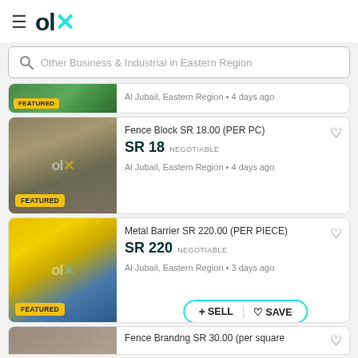[Figure (logo): OLX logo with hamburger menu icon]
Other Business & Industrial in Eastern Region
[Figure (photo): Green metal fence/gate - Featured listing, Al Jubail, Eastern Region, 4 days ago]
[Figure (photo): Fence Block SR 18.00 (PER PC) - concrete fence blocks stacked, FEATURED, Al Jubail, Eastern Region, 4 days ago]
Fence Block SR 18.00 (PER PC)
SR 18 NEGOTIABLE
Al Jubail, Eastern Region • 4 days ago
[Figure (photo): Metal Barrier SR 220.00 (PER PIECE) - yellow metal barriers, FEATURED, Al Jubail, Eastern Region, 3 days ago]
Metal Barrier SR 220.00 (PER PIECE)
SR 220 NEGOTIABLE
Al Jubail, Eastern Region • 3 days ago
+ SELL | ♡ SAVE
[Figure (photo): Fence Brandng SR 30.00 (per square - partial listing at bottom)]
Fence Brandng SR 30.00 (per square